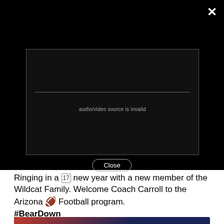[Figure (screenshot): Black video overlay with a video player box showing 'audio/video source is invalid' error message, a horizontal divider line, and a 'Close' pill button at the bottom. A white X close button appears in the top right corner.]
Ringing in a 🗓 new year with a new member of the Wildcat Family. Welcome Coach Carroll to the Arizona 🏈 Football program. #BearDown

azcats.co/BearDownCoachC...
[Figure (photo): Partial photo preview at the bottom of a person, likely Coach Carroll, with red and dark blue background.]